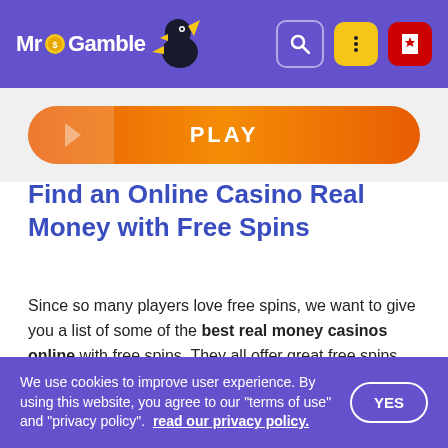Mr Gamble [logo/bird icon]
[Figure (other): Orange PLAY button with chevron/shine effect]
Find an Online Casino Real Money with Free Spins
Since so many players love free spins, we want to give you a list of some of the best real money casinos online with free spins. They all offer great free spins bonuses and generally have a lot going for them, and there are plenty of them! Have a look at this selection of real money casinos with f...
We use cookies to improve user experience. By using this website, you agree to our "terms of use" and "privacy policy".  read our privacy policy.